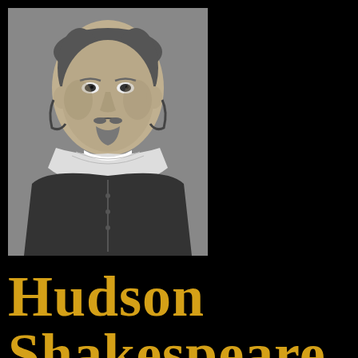[Figure (illustration): Grayscale engraved portrait of William Shakespeare showing his face and upper torso with a white collar and dark period clothing, positioned in the upper left area of the page against a black background.]
Hudson Shakespeare C